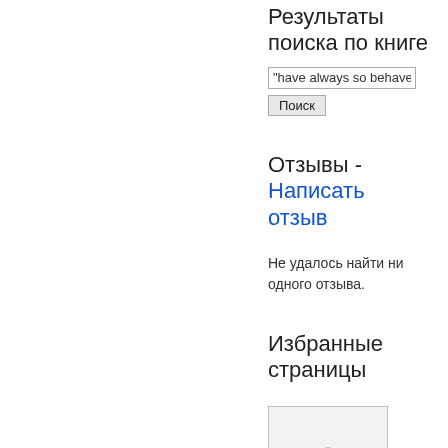Результаты поиска по книге
"have always so behaved m
Поиск
Отзывы - Написать отзыв
Не удалось найти ни одного отзыва.
Избранные страницы
[Figure (photo): Portrait of a man in an oval frame, black and white engraving]